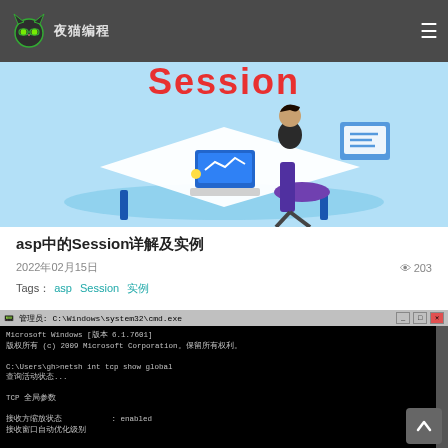夜猫编程
[Figure (illustration): Illustration of a person sitting at a desk with a laptop, with 'Session' text in red at the top on a light blue background]
asp中的Session详解及实例
2022年02月15日  👁 203
Tags：asp  Session  实例
[Figure (screenshot): Windows CMD window showing: Microsoft Windows [版本 6.1.7601], 版权所有 (c) 2009 Microsoft Corporation. 保留所有权利. C:\Users\gh>netsh int tcp show global, 查询活动状态..., TCP 全局参数, 接收方缩放状态 : enabled]